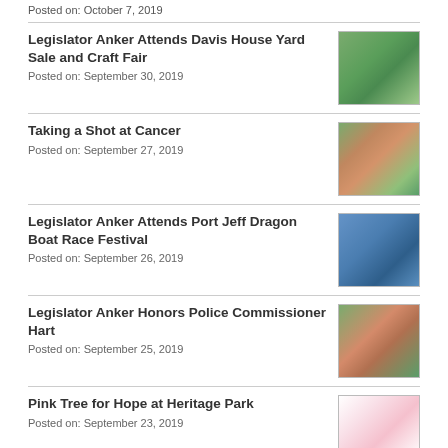Posted on: October 7, 2019
Legislator Anker Attends Davis House Yard Sale and Craft Fair
Posted on: September 30, 2019
[Figure (photo): Group photo of people outdoors at a yard sale or event]
Taking a Shot at Cancer
Posted on: September 27, 2019
[Figure (photo): Group photo of people outdoors]
Legislator Anker Attends Port Jeff Dragon Boat Race Festival
Posted on: September 26, 2019
[Figure (photo): Group photo of people at Dragon Boat Race Festival]
Legislator Anker Honors Police Commissioner Hart
Posted on: September 25, 2019
[Figure (photo): Photo of Legislator Anker with Police Commissioner Hart]
Pink Tree for Hope at Heritage Park
Posted on: September 23, 2019
[Figure (photo): Flyer or poster for Pink Tree for Hope at Heritage Park event]